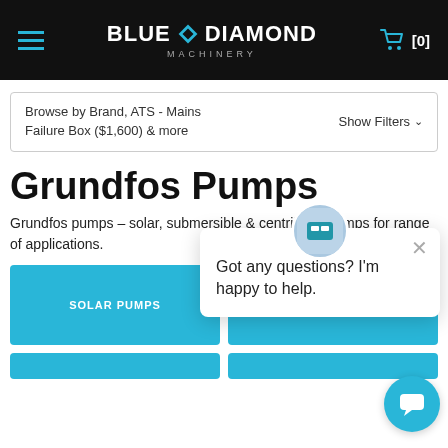BLUE DIAMOND MACHINERY [0]
Browse by Brand, ATS - Mains Failure Box ($1,600) & more  Show Filters
Grundfos Pumps
Grundfos pumps – solar, submersible & centrifugal pumps for range of applications.
[Figure (screenshot): Got any questions? I'm happy to help. chat popup with avatar and close button]
SOLAR PUMPS
SUBMERSIBLE PUMPS